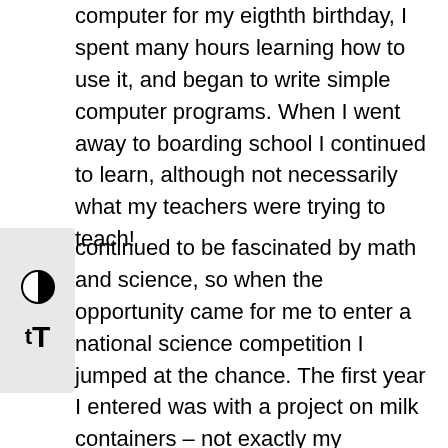computer for my eigthth birthday, I spent many hours learning how to use it, and began to write simple computer programs. When I went away to boarding school I continued to learn, although not necessarily what my teachers were trying to teach!
[Figure (other): Accessibility toolbar with contrast toggle icon and text resize icon (tT)]
continued to be fascinated by math and science, so when the opportunity came for me to enter a national science competition I jumped at the chance. The first year I entered was with a project on milk containers – not exactly my specialty! But I entered three more times, winning two first prizes, an award from the Irish Computer Society, an award from the Irish Physicists Society, and I won a prize from